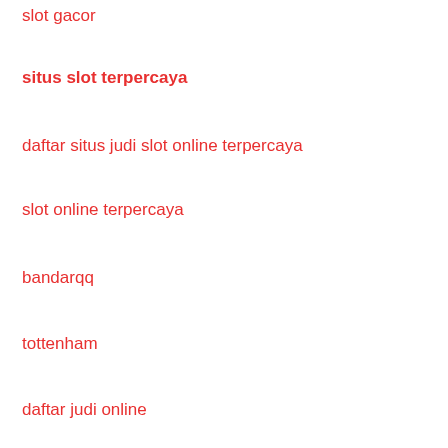slot gacor
situs slot terpercaya
daftar situs judi slot online terpercaya
slot online terpercaya
bandarqq
tottenham
daftar judi online